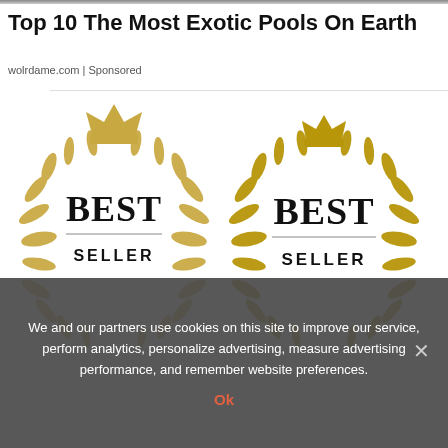Top 10 The Most Exotic Pools On Earth
wolrdame.com | Sponsored
[Figure (illustration): Two gold Best Seller badges with laurel wreaths and crowns]
We and our partners use cookies on this site to improve our service, perform analytics, personalize advertising, measure advertising performance, and remember website preferences.
Ok